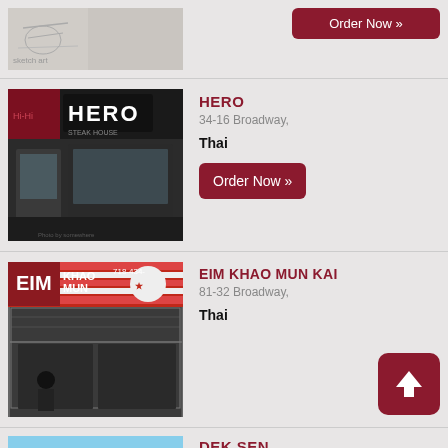[Figure (photo): Partial view of restaurant storefront with graffiti art, top of page]
[Figure (photo): HERO restaurant storefront at 34-16 Broadway with dark facade and signage]
HERO
34-16 Broadway,
Thai
Order Now »
[Figure (photo): EIM KHAO MUN KAI restaurant storefront at 81-32 Broadway with red and white signage]
EIM KHAO MUN KAI
81-32 Broadway,
Thai
[Figure (photo): DEK SEN restaurant storefront with yellow facade, partially visible at bottom]
DEK SEN